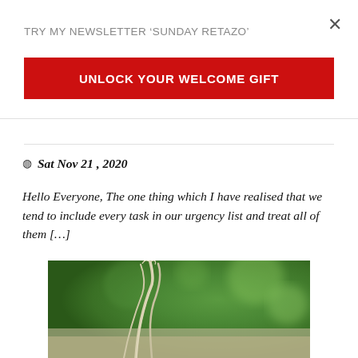TRY MY NEWSLETTER ‘SUNDAY RETAZO’
×
UNLOCK YOUR WELCOME GIFT
Sat Nov 21 , 2020
Hello Everyone, The one thing which I have realised that we tend to include every task in our urgency list and treat all of them […]
[Figure (photo): Close-up photo of grass or plant stalks against a blurred green bokeh background]